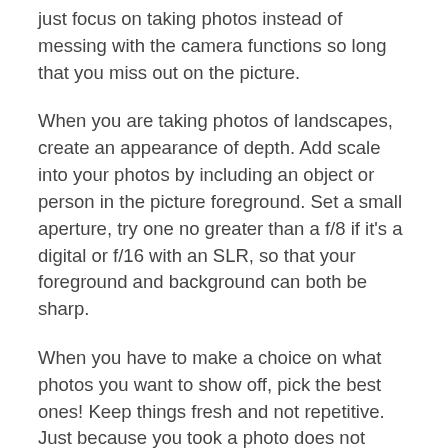just focus on taking photos instead of messing with the camera functions so long that you miss out on the picture.
When you are taking photos of landscapes, create an appearance of depth. Add scale into your photos by including an object or person in the picture foreground. Set a small aperture, try one no greater than a f/8 if it's a digital or f/16 with an SLR, so that your foreground and background can both be sharp.
When you have to make a choice on what photos you want to show off, pick the best ones! Keep things fresh and not repetitive. Just because you took a photo does not mean you have to show it. Your audience can become bored with repetitive images or too many of them. Aim to show a collection of distinctly different photographs that demonstrate a wide range of your photography skills.
You should now have a better idea of what you need to do to